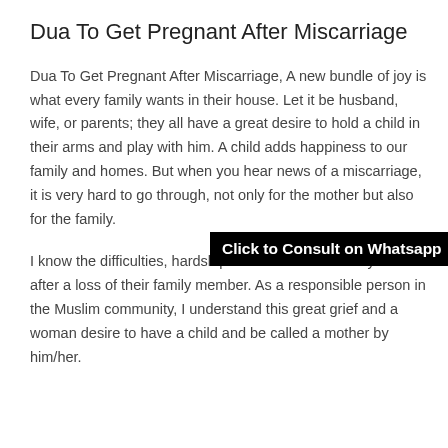Dua To Get Pregnant After Miscarriage
Dua To Get Pregnant After Miscarriage, A new bundle of joy is what every family wants in their house. Let it be husband, wife, or parents; they all have a great desire to hold a child in their arms and play with him. A child adds happiness to our family and homes. But when you hear news of a miscarriage, it is very hard to go through, not only for the mother but also for the family.
[Figure (other): Black banner overlay with text: Click to Consult on Whatsapp]
I know the difficulties, hardships and sadness a family faces after a loss of their family member. As a responsible person in the Muslim community, I understand this great grief and a woman desire to have a child and be called a mother by him/her.